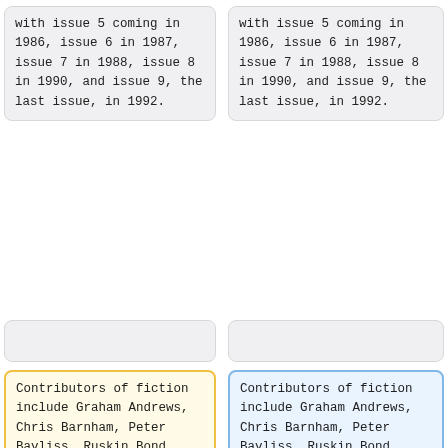with issue 5 coming in 1986, issue 6 in 1987, issue 7 in 1988, issue 8 in 1990, and issue 9, the last issue, in 1992.
with issue 5 coming in 1986, issue 6 in 1987, issue 7 in 1988, issue 8 in 1990, and issue 9, the last issue, in 1992.
Contributors of fiction include Graham Andrews, Chris Barnham, Peter Bayliss, Ruskin Bond, Russell Flinn, Malcolm Furnass, Dallas Clive Goffin, Peter A. Hough, Nic Howard, Roger Johnson, Rick Kennett, A.F. Kidd ([[Picatrix]]), Joel Lane, [[D.F. Lewis]]
Contributors of fiction include Graham Andrews, Chris Barnham, Peter Bayliss, Ruskin Bond, Russell Flinn, Malcolm Furnass, Dallas Clive Goffin, Peter A. Hough, Nic Howard, Roger Johnson, Rick Kennett, A.F. Kidd ([[Picatrix]]), Joel Lane, [[D.F. Lewis]]